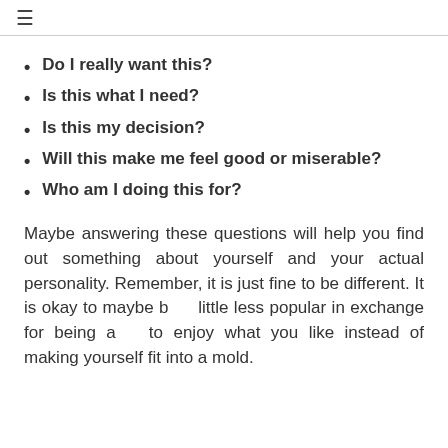≡
Do I really want this?
Is this what I need?
Is this my decision?
Will this make me feel good or miserable?
Who am I doing this for?
Maybe answering these questions will help you find out something about yourself and your actual personality. Remember, it is just fine to be different. It is okay to maybe be a little less popular in exchange for being able to enjoy what you like instead of making yourself fit into a mold.